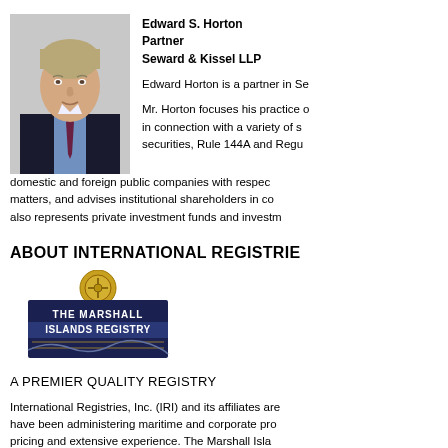[Figure (photo): Headshot of Edward S. Horton, a man with light hair wearing a dark suit and tie]
Edward S. Horton
Partner
Seward & Kissel LLP
Edward Horton is a partner in Se…
Mr. Horton focuses his practice o… in connection with a variety of s… securities, Rule 144A and Regu… domestic and foreign public companies with respec… matters, and advises institutional shareholders in co… also represents private investment funds and investm…
ABOUT INTERNATIONAL REGISTRIE…
[Figure (logo): The Marshall Islands Registry logo with gold emblem and dark banner reading THE MARSHALL ISLANDS REGISTRY]
A PREMIER QUALITY REGISTRY
International Registries, Inc. (IRI) and its affiliates are… have been administering maritime and corporate pro… pricing and extensive experience. The Marshall Isla… personnel ashore and afloat, the Registry's vessels … community and will continue to be at the forefront of v…